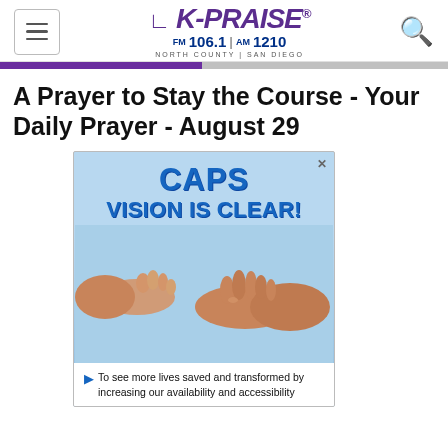K-PRAISE FM 106.1 | AM 1210 NORTH COUNTY | SAN DIEGO
A Prayer to Stay the Course - Your Daily Prayer - August 29
[Figure (infographic): Advertisement for CAPS with blue background, text 'CAPS VISION IS CLEAR!' and image of baby hand held by adult hand, with caption 'To see more lives saved and transformed by increasing our availability and accessibility']